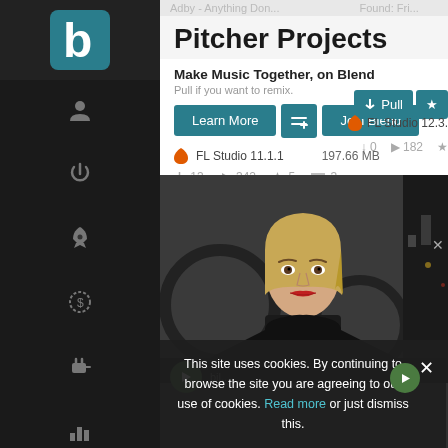[Figure (screenshot): Blend music platform website screenshot showing Pitcher Projects page with sidebar navigation, project cards, and cookie consent banner]
Pitcher Projects
Make Music Together, on Blend
Pull if you want to remix.
FL Studio 11.1.1    197.66 MB
↓ 13  ▶ 342  ★ 5  ≡ 3
This site uses cookies. By continuing to browse the site you are agreeing to our use of cookies. Read more or just dismiss this.